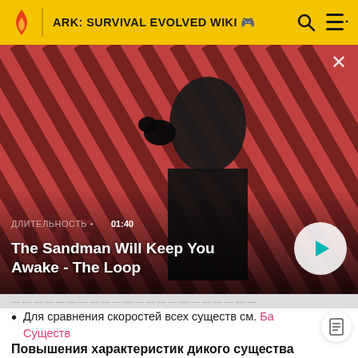ARK: SURVIVAL EVOLVED WIKI
[Figure (screenshot): Video thumbnail showing a dark-cloaked figure with a raven on their shoulder against a red and black diagonal striped background. Overlaid text: ДЛИТЕЛЬНОСТЬ • 01:40. Title: The Sandman Will Keep You Awake - The Loop. Play button visible at bottom right.]
Для сравнения скоростей всех существ см. Ба Существ
Повышения характеристик дикого существа